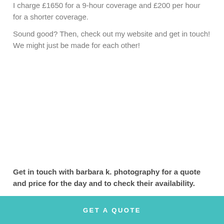I charge £1650 for a 9-hour coverage and £200 per hour for a shorter coverage.
Sound good? Then, check out my website and get in touch! We might just be made for each other!
Get in touch with barbara k. photography for a quote and price for the day and to check their availability.
GET A QUOTE